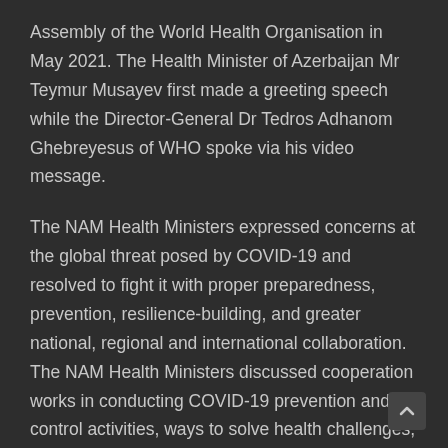Assembly of the World Health Organisation in May 2021. The Health Minister of Azerbaijan Mr Teymur Musayev first made a greeting speech while the Director-General Dr Tedros Adhanom Ghebreyesus of WHO spoke via his video message.
The NAM Health Ministers expressed concerns at the global threat posed by COVID-19 and resolved to fight it with proper preparedness, prevention, resilience-building, and greater national, regional and international collaboration. The NAM Health Ministers discussed cooperation works in conducting COVID-19 prevention and control activities, ways to solve health challenges, Universal Health Coverage, Sustainable Development Goals, fair use of COVID-19 Vaccine in member